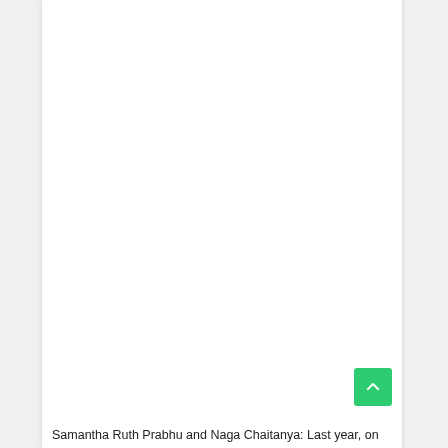[Figure (photo): Large white/blank image area occupying most of the page content region]
Samantha Ruth Prabhu and Naga Chaitanya: Last year, on